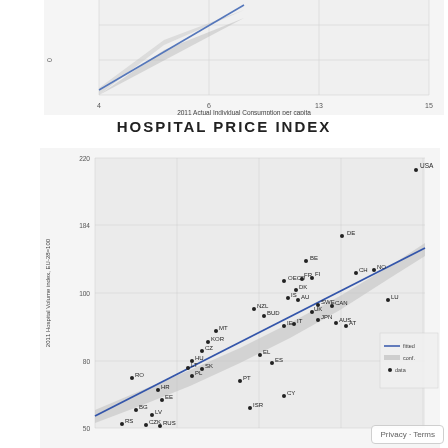[Figure (continuous-plot): Top partial scatter plot showing data points with a regression line. X-axis label: '2011 Actual Individual Consumption per capita'. Y-axis label partially visible. Gray shaded confidence band around regression line.]
HOSPITAL PRICE INDEX
[Figure (continuous-plot): Scatter plot with regression line (blue) and confidence band (gray). Y-axis: '2011 Hospital Volume index, EU-28=100'. X-axis: '2011 Actual Individual Consumption per capita (log scale)'. Country codes plotted: USA, DE, BE, OECD, FR, FI, DK, IS, AU, SWE, CAN, LU, NZL, BUD, JPN, IE, IT, AUS, AT, MT, KOR, CZ, EL, ES, HU, LT, SK, PL, PT, RO, HR, EE, BG, LV, RS, CZK, RUS, CY, ISR. USA is highest outlier top right. Blue regression line runs from bottom-left to top-right.]